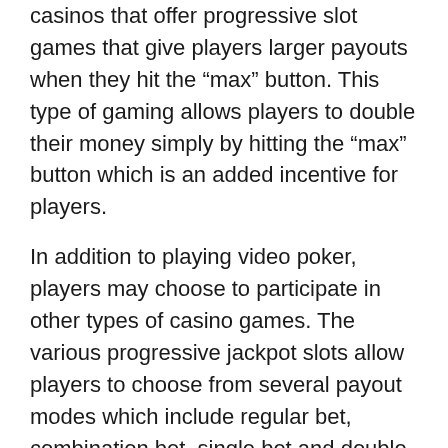casinos that offer progressive slot games that give players larger payouts when they hit the “max” button. This type of gaming allows players to double their money simply by hitting the “max” button which is an added incentive for players.
In addition to playing video poker, players may choose to participate in other types of casino games. The various progressive jackpot slots allow players to choose from several payout modes which include regular bet, combination bet, single bet and double bet. If a player wins a jackpot prize, then the payout from all of the individual slot machines will add up to a single jackpot prize. Progressive slots are designed to be the most difficult of all slots to beat. Even with practice, it can be difficult to determine if you are going to be able to beat the progressive jackpot slot machines.